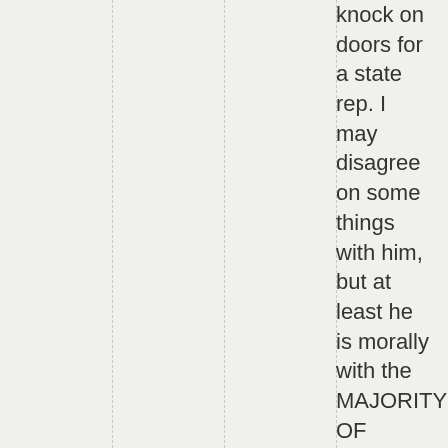knock on doors for a state rep. I may disagree on some things with him, but at least he is morally with the MAJORITY OF AMERICAN CITIZENS!
tinao
October 9, 2018 at 5:59 pm
I don't want to